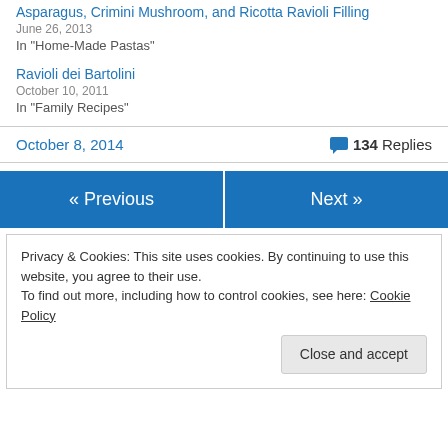Asparagus, Crimini Mushroom, and Ricotta Ravioli Filling
June 26, 2013
In "Home-Made Pastas"
Ravioli dei Bartolini
October 10, 2011
In "Family Recipes"
October 8, 2014
134 Replies
« Previous
Next »
Privacy & Cookies: This site uses cookies. By continuing to use this website, you agree to their use.
To find out more, including how to control cookies, see here: Cookie Policy
Close and accept